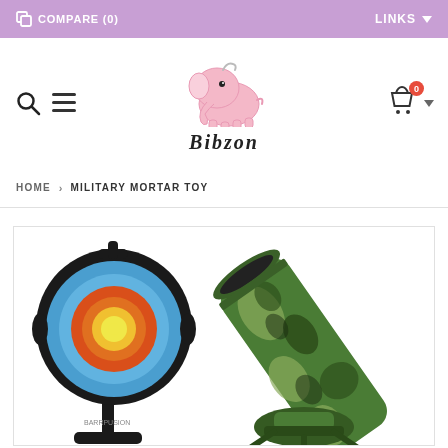COMPARE (0)   LINKS
[Figure (logo): Bibzon store logo with pink elephant illustration and 'BIBZON' text beneath]
HOME > MILITARY MORTAR TOY
[Figure (photo): Military mortar toy product photo showing a black archery/target stand on the left and a camouflage-patterned mortar tube on the right]